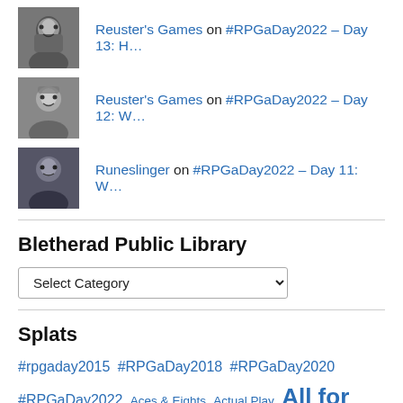Reuster's Games on #RPGaDay2022 – Day 13: H…
Reuster's Games on #RPGaDay2022 – Day 12: W…
Runeslinger on #RPGaDay2022 – Day 11: W…
Bletherad Public Library
Select Category (dropdown)
Splats
#rpgaday2015 #RPGaDay2018 #RPGaDay2020 #RPGaDay2022 Aces & Eights Actual Play All for One A Time of War Battletech Battletech Lunchtime Challenge Call of Cthulhu Campaign setting campaign world